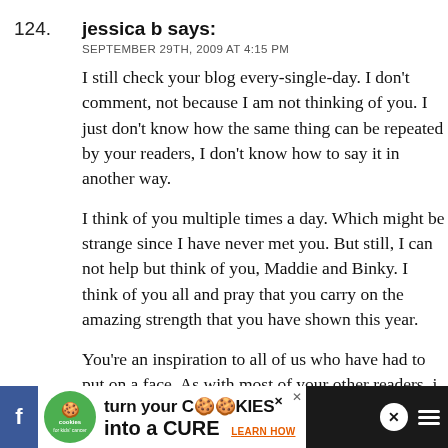124.
jessica b says:
SEPTEMBER 29TH, 2009 AT 4:15 PM
I still check your blog every-single-day. I don't comment, not because I am not thinking of you. I just don't know how the same thing can be repeated by your readers, I don't know how to say it in another way.
I think of you multiple times a day. Which might be strange since I have never met you. But still, I can not help but think of you, Maddie and Binky. I think of you all and pray that you carry on the amazing strength that you have shown this year.
You're an inspiration to all of us who have had to put on a face. As with most of your other readers, i have a "face" too. Not for the same reason as yours, but I understand the need for it.
I believe that one of the worst things anyone can say to someone who lost a loved one is "you should take comfort in knowing they are in no pain and that they are in a better place". Do people not realize that grieving is for the living? We grieve because we are left
[Figure (infographic): Advertisement banner: 'cookies for kids cancer - turn your COOKIES into a CURE LEARN HOW' on dark background with Facebook icon on left and close/menu icons on right]